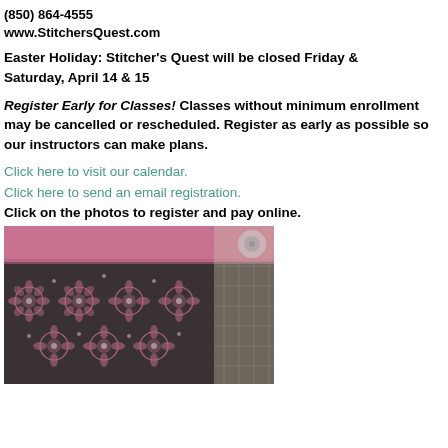(850) 864-4555
www.StitchersQuest.com
Easter Holiday:  Stitcher's Quest will be closed Friday & Saturday, April 14 & 15
Register Early for Classes!  Classes without minimum enrollment may be cancelled or rescheduled.  Register as early as possible so our instructors can make plans.
Click here to visit our calendar.
Click here to send an email registration.
Click on the photos to register and pay online.
[Figure (photo): Photo of a fabric pouch or bag with pink top fold and dark floral/geometric patterned fabric on a cutting mat]